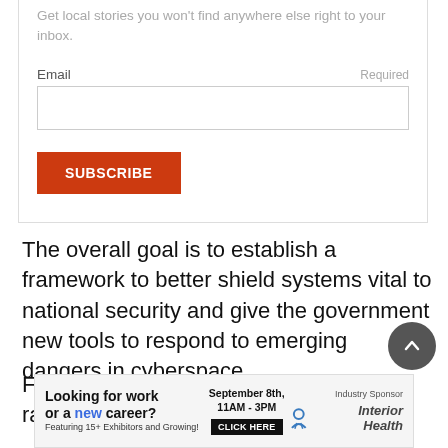Get local stories you won't find anywhere else right to your inbox.
Email    Required
SUBSCRIBE
The overall goal is to establish a framework to better shield systems vital to national security and give the government new tools to respond to emerging dangers in cyberspace.
From electronic espionage to ransomware, the threats t
[Figure (infographic): Advertisement banner: 'Looking for work or a new career? Featuring 15+ Exhibitors and Growing! September 8th, 11AM - 3PM. CLICK HERE. Industry Sponsor: Interior Health']